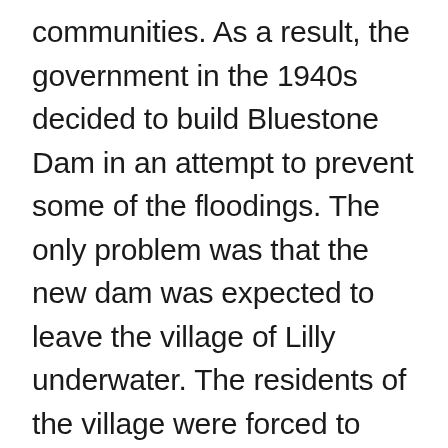communities. As a result, the government in the 1940s decided to build Bluestone Dam in an attempt to prevent some of the floodings. The only problem was that the new dam was expected to leave the village of Lilly underwater. The residents of the village were forced to leave their homes, though they were given financial compensation for their land, with one farmer reported to have been paid $1,750 for his property. Buildings were torn down or moved and ancient cemeteries were relocated, with many graves being left unmarked in their new location.